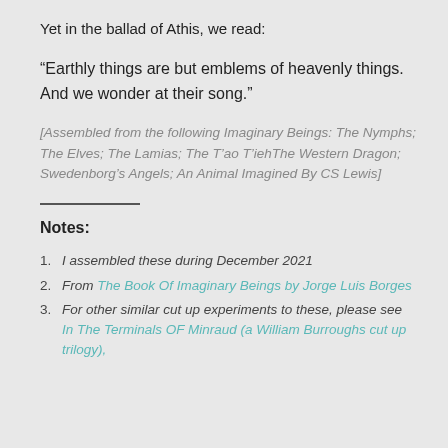Yet in the ballad of Athis, we read:
“Earthly things are but emblems of heavenly things. And we wonder at their song.”
[Assembled from the following Imaginary Beings: The Nymphs; The Elves; The Lamias; The T’ao T’iehThe Western Dragon; Swedenborg’s Angels; An Animal Imagined By CS Lewis]
Notes:
1. I assembled these during December 2021
2. From The Book Of Imaginary Beings by Jorge Luis Borges
3. For other similar cut up experiments to these, please see In The Terminals OF Minraud (a William Burroughs cut up trilogy),